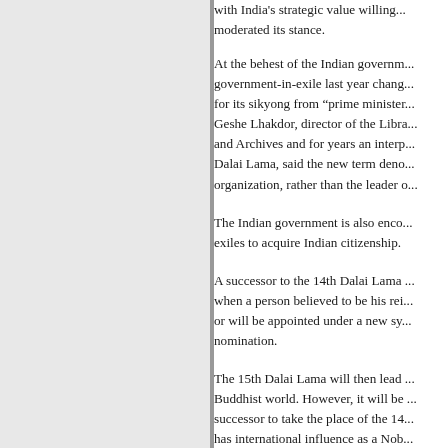with India's strategic value willing... moderated its stance.
At the behest of the Indian government, the government-in-exile last year changed the title for its sikyong from "prime minister" to... Geshe Lhakdor, director of the Library... and Archives and for years an interpreter for the Dalai Lama, said the new term denotes the organization, rather than the leader of...
The Indian government is also encouraging exiles to acquire Indian citizenship.
A successor to the 14th Dalai Lama will emerge when a person believed to be his reincarnation or will be appointed under a new system of nomination.
The 15th Dalai Lama will then lead the Buddhist world. However, it will be hard for a successor to take the place of the 14th, who has international influence as a Nobel... laureate and in the eyes of Tib...